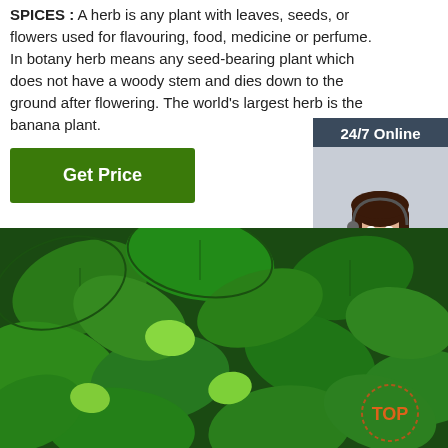SPICES : A herb is any plant with leaves, seeds, or flowers used for flavouring, food, medicine or perfume. In botany herb means any seed-bearing plant which does not have a woody stem and dies down to the ground after flowering. The world's largest herb is the banana plant.
Get Price
[Figure (other): 24/7 Online chat widget with a photo of a woman wearing a headset, dark background, orange QUOTATION button, text 'Click here for free chat!']
[Figure (photo): Close-up photo of green mint/herb leaves filling the frame, with a 'TOP' badge in the bottom right corner]